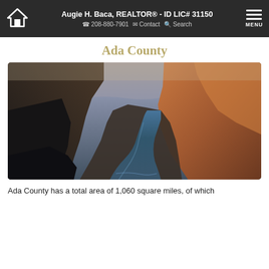Augie H. Baca, REALTOR® - ID LIC# 31150 | ☎ 208-880-7901 | ✉ Contact | 🔍 Search | MENU
Ada County
[Figure (photo): Canyon landscape with a river winding through steep rocky canyon walls, photographed at dusk or dawn with warm orange light on the right canyon walls and cool blue water below.]
Ada County has a total area of 1,060 square miles, of which